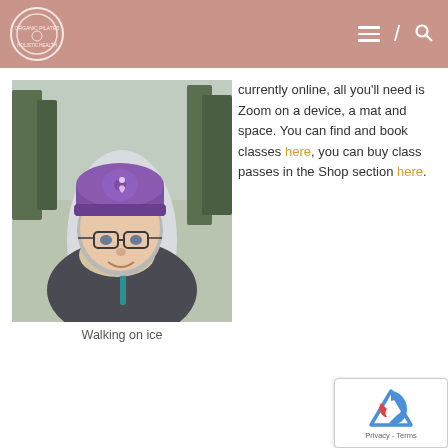Organic Pilates & Holistic Health [logo] — navigation menu
[Figure (photo): Selfie of a woman with curly grey hair, glasses, wearing a purple knit hat and grey puffer jacket with a beige scarf, standing on an icy road surrounded by trees]
Walking on ice
currently online, all you'll need is Zoom on a device, a mat and space. You can find and book classes here, you can buy class passes in the Shop section here.